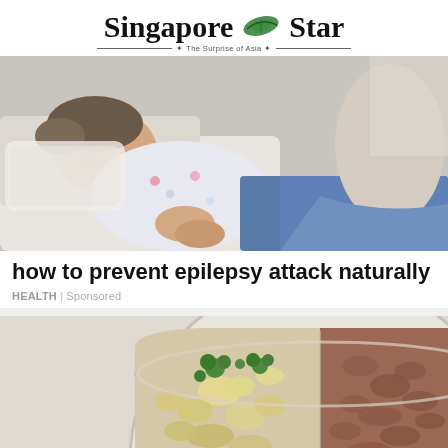Singapore Star — The Surprise of Asia
[Figure (photo): Young person lying on a couch/bed, appearing to have a seizure or be unwell, with someone placing a hand on their shoulder. The person is wearing a floral top and jeans.]
how to prevent epilepsy attack naturally
HEALTH | Sponsored
[Figure (photo): A bowl showing two types of pet food side by side — fresh food with broccoli and chunks on the left, and ground meat/pâté on the right.]